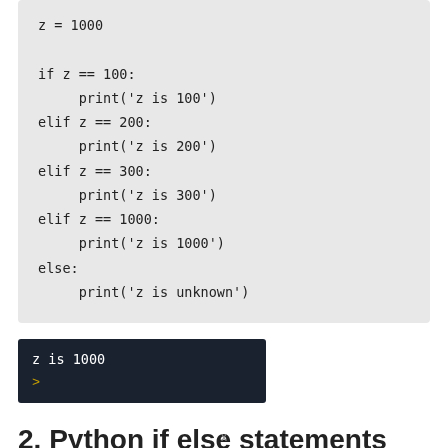[Figure (screenshot): Python code block showing z=1000 with if/elif/else chain checking z against 100, 200, 300, 1000, and unknown]
[Figure (screenshot): Terminal output showing 'z is 1000' and a prompt symbol on dark background]
2. Python if else statements
x